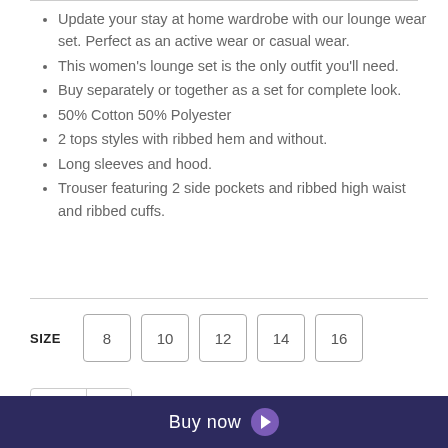Update your stay at home wardrobe with our lounge wear set. Perfect as an active wear or casual wear.
This women's lounge set is the only outfit you'll need.
Buy separately or together as a set for complete look.
50% Cotton 50% Polyester
2 tops styles with ribbed hem and without.
Long sleeves and hood.
Trouser featuring 2 side pockets and ribbed high waist and ribbed cuffs.
SIZE  8  10  12  14  16
1 + -
Buy now